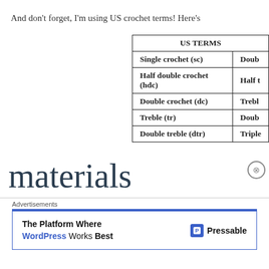And don't forget, I'm using US crochet terms! Here's
| US TERMS |  |
| --- | --- |
| Single crochet (sc) | Doub |
| Half double crochet (hdc) | Half t |
| Double crochet (dc) | Trebl |
| Treble (tr) | Doub |
| Double treble (dtr) | Triple |
materials
For my throw sized blanket I used 11 skeins of Style Meadow, Fondant, Sherbet, Aspen, Apricot, Candyflc Rose for the border). It was a close call though,
Advertisements
[Figure (screenshot): Advertisement banner for Pressable WordPress hosting: 'The Platform Where WordPress Works Best' with Pressable logo]